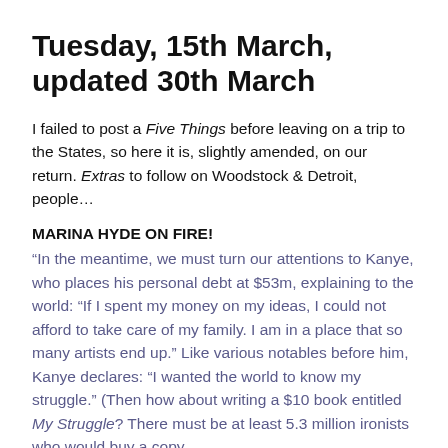Tuesday, 15th March, updated 30th March
I failed to post a Five Things before leaving on a trip to the States, so here it is, slightly amended, on our return. Extras to follow on Woodstock & Detroit, people…
MARINA HYDE ON FIRE!
“In the meantime, we must turn our attentions to Kanye, who places his personal debt at $53m, explaining to the world: “If I spent my money on my ideas, I could not afford to take care of my family. I am in a place that so many artists end up.” Like various notables before him, Kanye declares: “I wanted the world to know my struggle.” (Then how about writing a $10 book entitled My Struggle? There must be at least 5.3 million ironists who would buy a copy